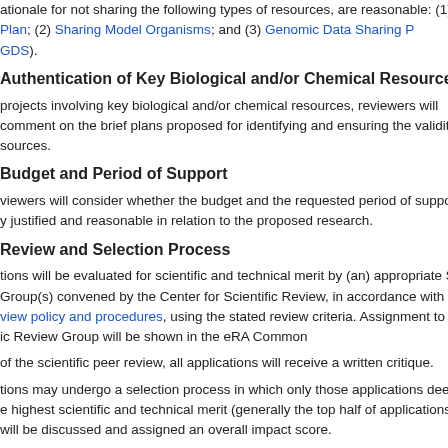ationale for not sharing the following types of resources, are reasonable: (1) Sharing Plan; (2) Sharing Model Organisms; and (3) Genomic Data Sharing Policy (GDS).
Authentication of Key Biological and/or Chemical Resources
projects involving key biological and/or chemical resources, reviewers will comment on the brief plans proposed for identifying and ensuring the validity of resources.
Budget and Period of Support
viewers will consider whether the budget and the requested period of support are justified and reasonable in relation to the proposed research.
Review and Selection Process
tions will be evaluated for scientific and technical merit by (an) appropriate Scientific Review Group(s) convened by the Center for Scientific Review, in accordance with NIH peer review policy and procedures, using the stated review criteria. Assignment to a specific Review Group will be shown in the eRA Common
of the scientific peer review, all applications will receive a written critique.
tions may undergo a selection process in which only those applications deemed to have the highest scientific and technical merit (generally the top half of applications scored) will be discussed and assigned an overall impact score.